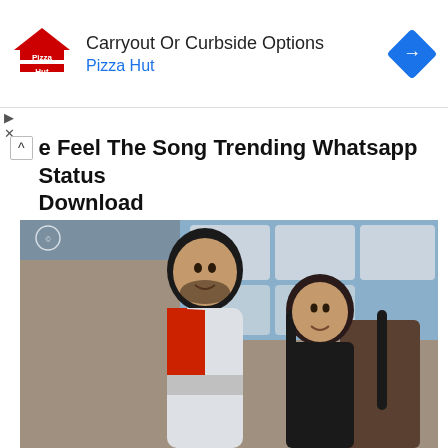[Figure (other): Pizza Hut advertisement banner with logo, text 'Carryout Or Curbside Options' and 'Pizza Hut', and a blue diamond navigation arrow icon]
e Feel The Song Trending Whatsapp Status Download
[Figure (photo): A young man and woman smiling at each other outdoors in front of a building with windows. The man wears a red/white/grey jacket. The woman has long black hair and wears a black outfit.]